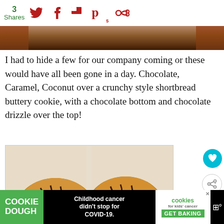3 Shares
[Figure (photo): Partial top view of chocolate caramel coconut cookies on a surface]
I had to hide a few for our company coming or these would have all been gone in a day. Chocolate, Caramel, Coconut over a crunchy style shortbread buttery cookie, with a chocolate bottom and chocolate drizzle over the top!
[Figure (photo): Two chocolate-drizzled caramel coconut cookies on a white surface, viewed from above]
WHAT'S NEXT → Trefoils or Shortbread (...